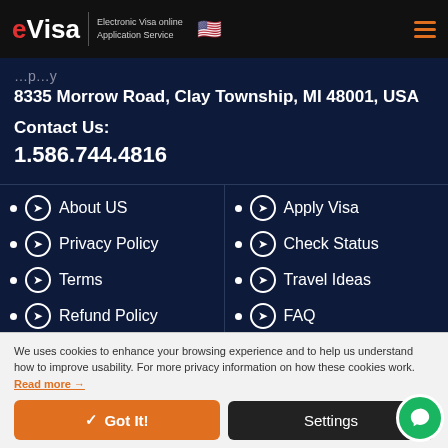eVisa — Electronic Visa online Application Service
8335 Morrow Road, Clay Township, MI 48001, USA
Contact Us:
1.586.744.4816
About US
Privacy Policy
Terms
Refund Policy
Apply Visa
Check Status
Travel Ideas
FAQ
We uses cookies to enhance your browsing experience and to help us understand how to improve usability. For more privacy information on how these cookies work. Read more →
Got It!
Settings